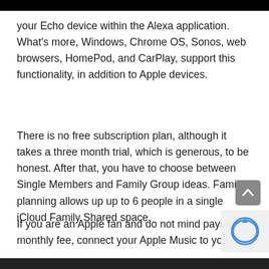your Echo device within the Alexa application. What's more, Windows, Chrome OS, Sonos, web browsers, HomePod, and CarPlay, support this functionality, in addition to Apple devices.
There is no free subscription plan, although it takes a three month trial, which is generous, to be honest. After that, you have to choose between Single Members and Family Group ideas. Family planning allows up up to 6 people in a single iCloud Family Shared space.
If you are an Apple fan and do not mind paying a monthly fee, connect your Apple Music to you